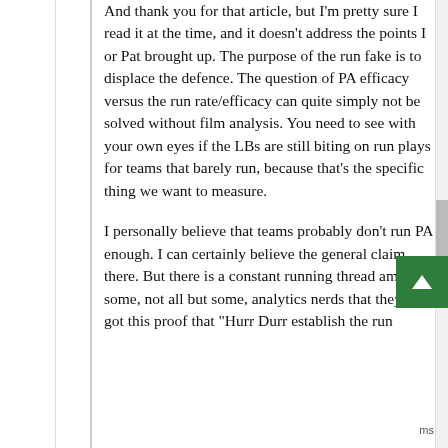And thank you for that article, but I'm pretty sure I read it at the time, and it doesn't address the points I or Pat brought up. The purpose of the run fake is to displace the defence. The question of PA efficacy versus the run rate/efficacy can quite simply not be solved without film analysis. You need to see with your own eyes if the LBs are still biting on run plays for teams that barely run, because that's the specific thing we want to measure.
I personally believe that teams probably don't run PA enough. I can certainly believe the general claim there. But there is a constant running thread amongst some, not all but some, analytics nerds that they've got this proof that "Hurr Durr establish the run"